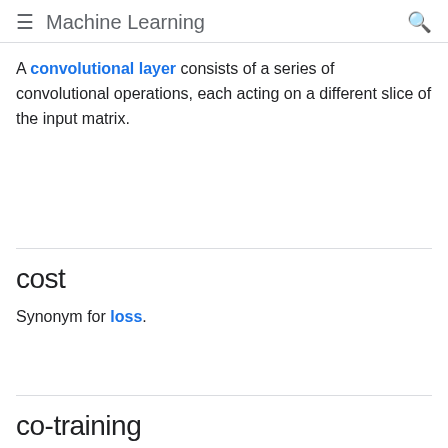Machine Learning
A convolutional layer consists of a series of convolutional operations, each acting on a different slice of the input matrix.
cost
Synonym for loss.
co-training